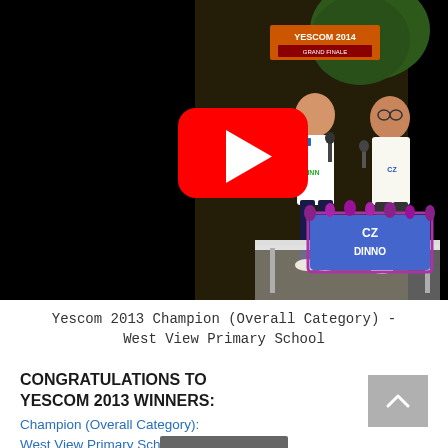[Figure (screenshot): YouTube video thumbnail showing two children at a presentation event labeled YESCOM 2014, with a red YouTube play button overlay in the center. A decorated sign reading CZ DINNO is visible on a table.]
Yescom 2013 Champion (Overall Category) - West View Primary School
CONGRATULATIONS TO YESCOM 2013 WINNERS:
Champion (Overall Category):
West View Primary School